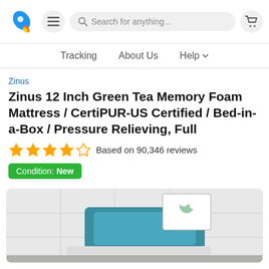Search for anything...
Tracking   About Us   Help
Zinus
Zinus 12 Inch Green Tea Memory Foam Mattress / CertiPUR-US Certified / Bed-in-a-Box / Pressure Relieving, Full
Based on 90,346 reviews
Condition: New
[Figure (photo): Product photo of a mattress with a teal headboard and white floral wall art in a bedroom setting]